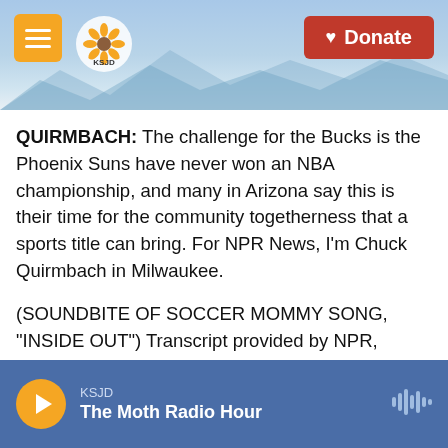[Figure (screenshot): Website header with mountain landscape background, orange hamburger menu button on left, KSJD logo with sunflower design, and red Donate button on right]
QUIRMBACH: The challenge for the Bucks is the Phoenix Suns have never won an NBA championship, and many in Arizona say this is their time for the community togetherness that a sports title can bring. For NPR News, I'm Chuck Quirmbach in Milwaukee.
(SOUNDBITE OF SOCCER MOMMY SONG, "INSIDE OUT") Transcript provided by NPR, Copyright NPR.
[Figure (infographic): Social sharing buttons: Facebook (blue), Twitter (blue), LinkedIn (blue), Email (white/gray outline)]
KSJD — The Moth Radio Hour